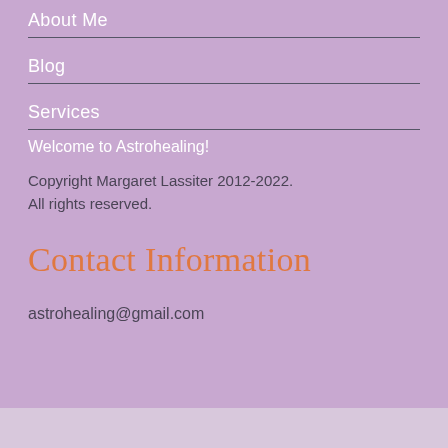About Me
Blog
Services
Welcome to Astrohealing!
Copyright Margaret Lassiter 2012-2022. All rights reserved.
Contact Information
astrohealing@gmail.com